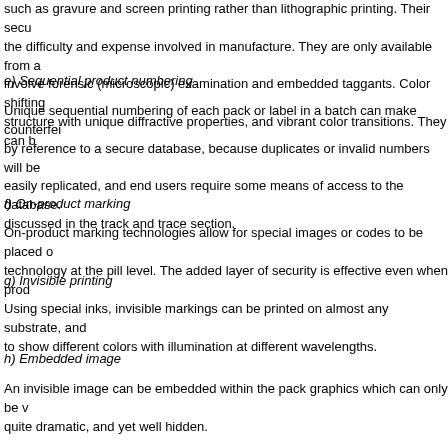such as gravure and screen printing rather than lithographic printing. Their secu the difficulty and expense involved in manufacture. They are only available from a involve forensic (microscopic) examination and embedded taggants. Color shifting structure with unique diffractive properties, and vibrant color transitions. They can b
e) Sequential product numbering
Unique sequential numbering of each pack or label in a batch can make counterfei by reference to a secure database, because duplicates or invalid numbers will be easily replicated, and end users require some means of access to the database. discussed in the track and trace section.
f) On-product marking
On-product marking technologies allow for special images or codes to be placed o technology at the pill level. The added layer of security is effective even when prod
g) Invisible printing
Using special inks, invisible markings can be printed on almost any substrate, and to show different colors with illumination at different wavelengths.
h) Embedded image
An invisible image can be embedded within the pack graphics which can only be v quite dramatic, and yet well hidden.